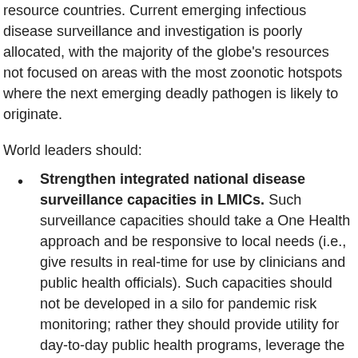resource countries. Current emerging infectious disease surveillance and investigation is poorly allocated, with the majority of the globe's resources not focused on areas with the most zoonotic hotspots where the next emerging deadly pathogen is likely to originate.
World leaders should:
Strengthen integrated national disease surveillance capacities in LMICs. Such surveillance capacities should take a One Health approach and be responsive to local needs (i.e., give results in real-time for use by clinicians and public health officials). Such capacities should not be developed in a silo for pandemic risk monitoring; rather they should provide utility for day-to-day public health programs, leverage the latest developments in digital tools to streamline operations for health workers, and accelerate data